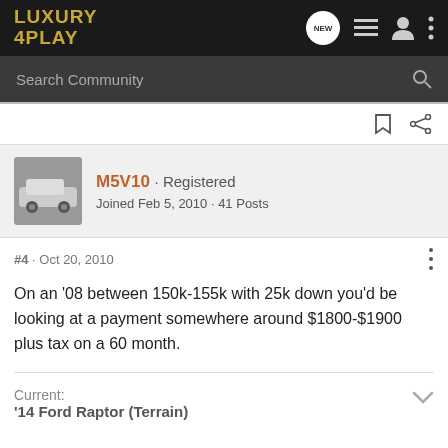LUXURY 4PLAY
Search Community
M5V10 · Registered
Joined Feb 5, 2010 · 41 Posts
#4 · Oct 20, 2010
On an '08 between 150k-155k with 25k down you'd be looking at a payment somewhere around $1800-$1900 plus tax on a 60 month.
Current:
'14 Ford Raptor (Terrain)